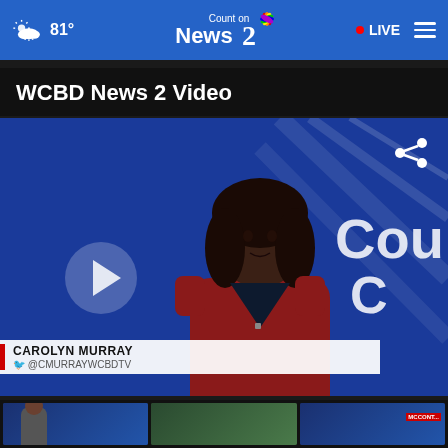81° Count on News 2 NBC | LIVE
WCBD News 2 Video
[Figure (screenshot): Video thumbnail of news anchor Carolyn Murray in a red dress at a news desk with a blue studio background showing 'Cou...' branding. A play button overlay is visible in the lower-left. A share icon appears in the upper-right corner.]
CAROLYN MURRAY @CMURRAYWCBDTV
[Figure (screenshot): Three partial video thumbnails visible at the bottom of the page showing additional news segments.]